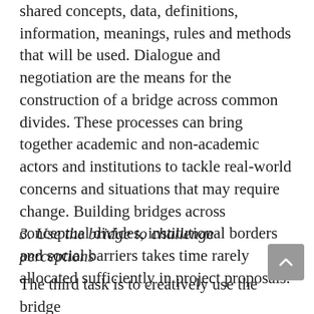shared concepts, data, definitions, information, meanings, rules and methods that will be used. Dialogue and negotiation are the means for the construction of a bridge across common divides. These processes can bring together academic and non-academic actors and institutions to tackle real-world concerns and situations that may require change. Building bridges across conceptual divides, institutional borders and social barriers takes time rarely allocated sufficiently in project proposals.
3. Use the bridge to challenge perceptions
The third task is to creatively use the bridge